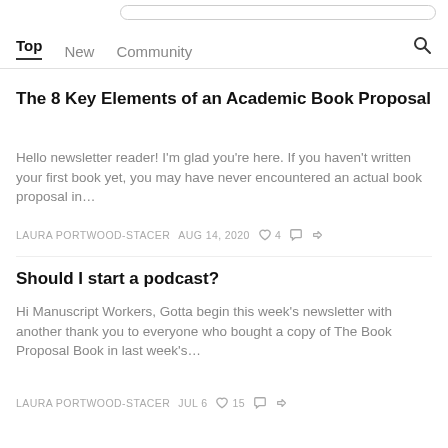Top  New  Community
The 8 Key Elements of an Academic Book Proposal
Hello newsletter reader! I'm glad you're here. If you haven't written your first book yet, you may have never encountered an actual book proposal in…
LAURA PORTWOOD-STACER  AUG 14, 2020  ♡ 4
Should I start a podcast?
Hi Manuscript Workers, Gotta begin this week's newsletter with another thank you to everyone who bought a copy of The Book Proposal Book in last week's…
LAURA PORTWOOD-STACER  JUL 6  ♡ 15